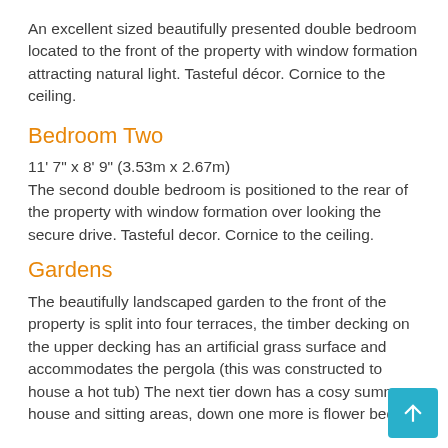An excellent sized beautifully presented double bedroom located to the front of the property with window formation attracting natural light. Tasteful décor. Cornice to the ceiling.
Bedroom Two
11' 7" x 8' 9" (3.53m x 2.67m)
The second double bedroom is positioned to the rear of the property with window formation over looking the secure drive. Tasteful decor. Cornice to the ceiling.
Gardens
The beautifully landscaped garden to the front of the property is split into four terraces, the timber decking on the upper decking has an artificial grass surface and accommodates the pergola (this was constructed to house a hot tub) The next tier down has a cosy summer house and sitting areas, down one more is flower beds,